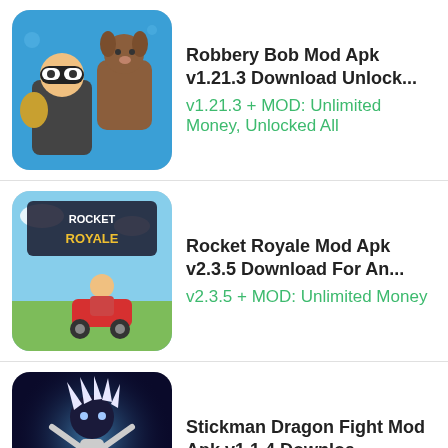Robbery Bob Mod Apk v1.21.3 Download Unlock... | v1.21.3 + MOD: Unlimited Money, Unlocked All
Rocket Royale Mod Apk v2.3.5 Download For An... | v2.3.5 + MOD: Unlimited Money
Stickman Dragon Fight Mod Apk v1.1.4 Downloa... | v1.1.4 + MOD: Unlimited Money
Killer Bean Unleashed Mod Apk v4.00 Download ... | v4.00 + MOD: Premium Unlocked
Snow Storm Superhero Mod Apk v1.2.1 Unli...a... | v1.2.1 + MOD: Unlimited Money